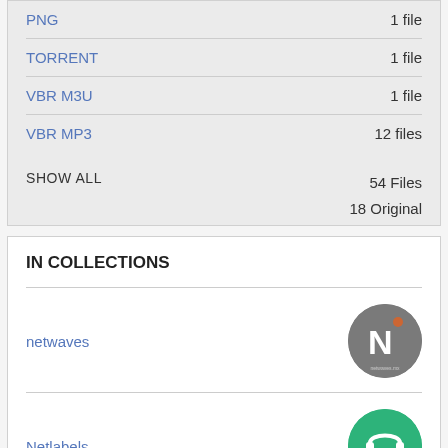PNG — 1 file
TORRENT — 1 file
VBR M3U — 1 file
VBR MP3 — 12 files
SHOW ALL  54 Files  18 Original
IN COLLECTIONS
netwaves
Netlabels